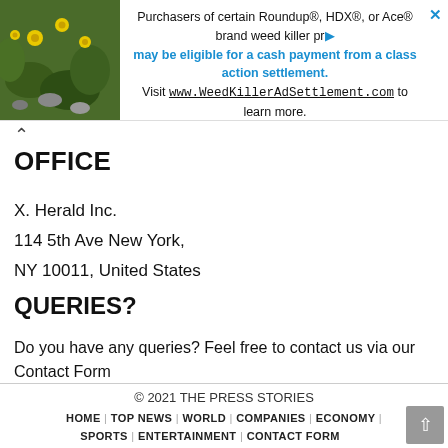[Figure (infographic): Advertisement banner: image of yellow flowers on left, text about Roundup/HDX/Ace brand weed killer class action settlement on right, with WeedKillerAdSettlement.com URL]
OFFICE
X. Herald Inc.
114 5th Ave New York,
NY 10011, United States
QUERIES?
Do you have any queries? Feel free to contact us via our Contact Form
© 2021 THE PRESS STORIES
HOME | TOP NEWS | WORLD | COMPANIES | ECONOMY | SPORTS | ENTERTAINMENT | CONTACT FORM